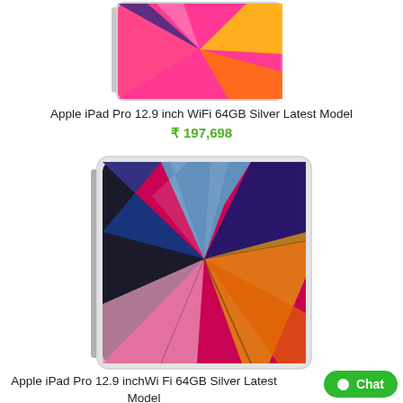[Figure (photo): Partial view of Apple iPad Pro 12.9 inch silver model - top portion cropped]
Apple iPad Pro 12.9 inch WiFi 64GB Silver Latest Model
₹ 197,698
[Figure (photo): Apple iPad Pro 12.9 inch silver model showing colorful abstract wallpaper on display, front and back view]
Apple iPad Pro 12.9 inchWi Fi 64GB Silver Latest Model
₹ 198,955